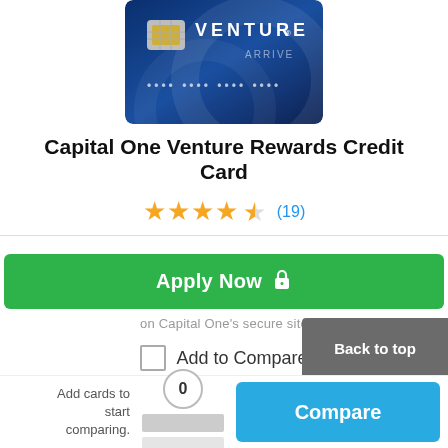[Figure (photo): Capital One Venture credit card image showing chip and VENTURE text on blue background]
Capital One Venture Rewards Credit Card
★★★★☆ (19)
Apply Now 🔒
on Capital One's secure site
Add to Compare
Rates & Fees
No Foreign Transaction Fees & No Blackout Dates
Bonus Miles
Back to top
Add cards to start comparing.
0
Compare